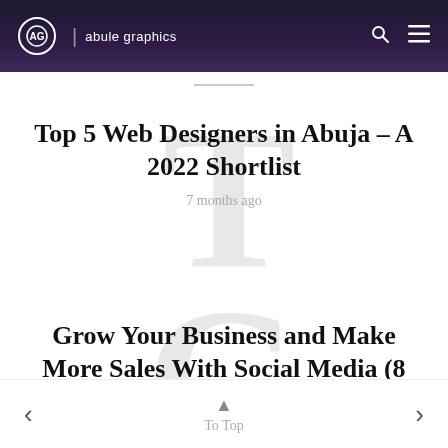abule graphics
Top 5 Web Designers in Abuja – A 2022 Shortlist
7 months ago
Grow Your Business and Make More Sales With Social Media (8 Easy Tips)
To Top